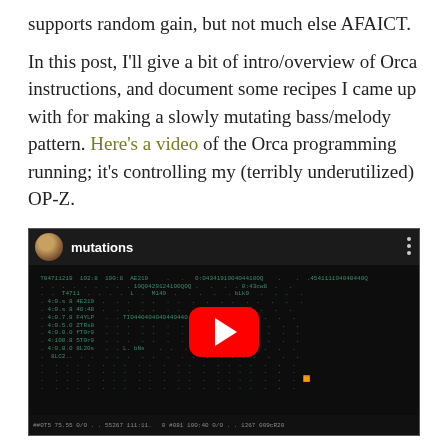supports random gain, but not much else AFAICT.
In this post, I'll give a bit of intro/overview of Orca instructions, and document some recipes I came up with for making a slowly mutating bass/melody pattern. Here's a video of the Orca programming running; it's controlling my (terribly underutilized) OP-Z.
[Figure (screenshot): Embedded YouTube video thumbnail showing a dark terminal/Orca programming environment with green ASCII characters scattered on a black background. A video player title bar shows a circular avatar and the title 'mutations'. A large red YouTube play button is centered on the video. The bottom shows status bar text in monospace.]